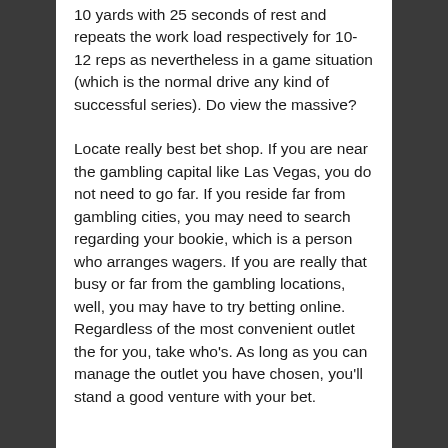10 yards with 25 seconds of rest and repeats the work load respectively for 10-12 reps as nevertheless in a game situation (which is the normal drive any kind of successful series). Do view the massive?
Locate really best bet shop. If you are near the gambling capital like Las Vegas, you do not need to go far. If you reside far from gambling cities, you may need to search regarding your bookie, which is a person who arranges wagers. If you are really that busy or far from the gambling locations, well, you may have to try betting online. Regardless of the most convenient outlet the for you, take who's. As long as you can manage the outlet you have chosen, you'll stand a good venture with your bet.